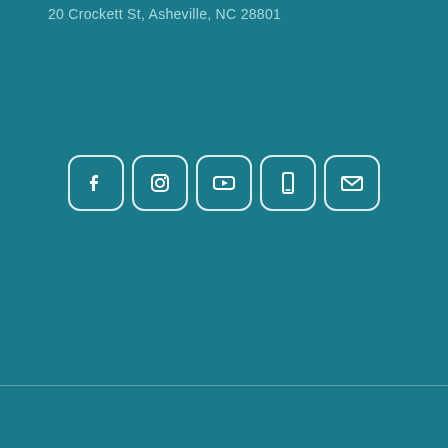20 Crockett St, Asheville, NC 28801
[Figure (infographic): Five social media icon buttons in rounded square boxes: Facebook, Instagram, YouTube, mobile/phone, and email envelope icons, white outlines on teal background]